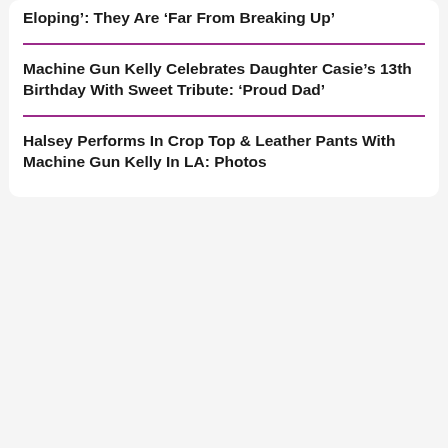Eloping': They Are 'Far From Breaking Up'
Machine Gun Kelly Celebrates Daughter Casie's 13th Birthday With Sweet Tribute: 'Proud Dad'
Halsey Performs In Crop Top & Leather Pants With Machine Gun Kelly In LA: Photos